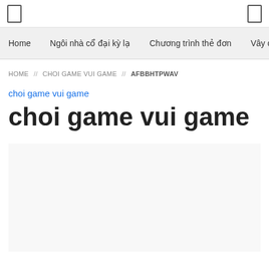[ ] [ ]
Home | Ngôi nhà cổ đại kỳ lạ | Chương trình thẻ đơn | Vây cu
HOME // CHOI GAME VUI GAME // AFBBHTPWAV
choi game vui game
choi game vui game